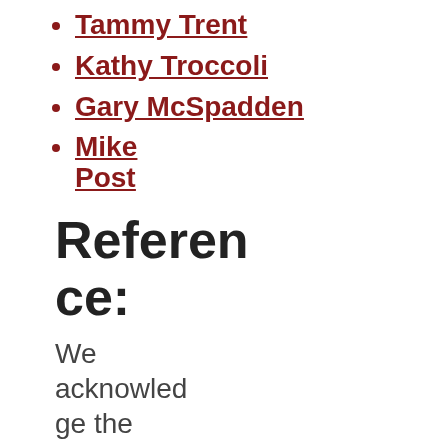Tammy Trent
Kathy Troccoli
Gary McSpadden
Mike Post
Reference:
We acknowledge the following websites that we have referenced as we were writing this article.: